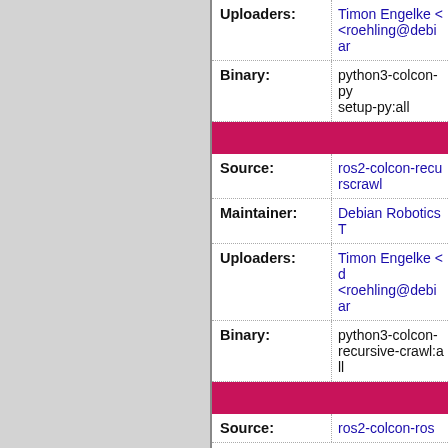| Field | Value |
| --- | --- |
| Uploaders: | Timon Engelke <d <roehling@debian |
| Binary: | python3-colcon-py setup-py:all |
| [section] |  |
| Source: | ros2-colcon-recurs crawl |
| Maintainer: | Debian Robotics T |
| Uploaders: | Timon Engelke <d <roehling@debiar |
| Binary: | python3-colcon- recursive-crawl:all |
| [section] |  |
| Source: | ros2-colcon-ros |
| Maintainer: | Debian Robotics T |
| Uploaders: | Timon Engelke <d <roehling@debiar |
| Binary: | python3-colcon-ro |